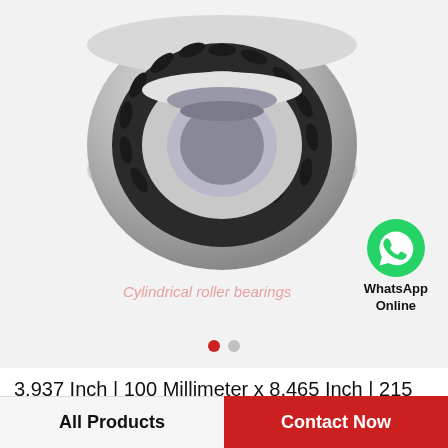[Figure (photo): Cylindrical roller bearing shown at an angle, metallic silver outer ring with dark roller cage assembly visible. WhatsApp Online icon in bottom right of image area. Watermark text 'Cylindrical roller bearings' overlaid. Two navigation dots below the image (red active, gray inactive).]
3.937 Inch | 100 Millimeter x 8.465 Inch | 215 Millimeter x 1.85 Inch | 47 Millimeter SKF N...
All Products
Contact Now